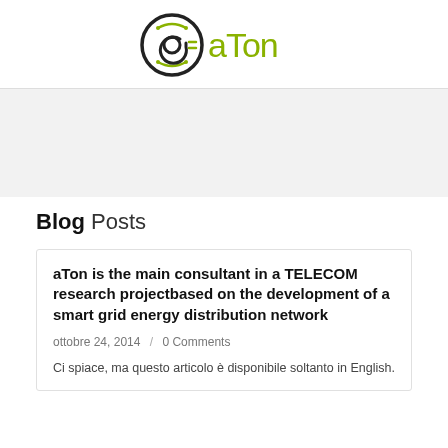[Figure (logo): aTon logo: circular @-symbol icon in black outline with green fill detail, followed by 'aTon' text in olive/yellow-green color]
Blog Posts
aTon is the main consultant in a TELECOM research projectbased on the development of a smart grid energy distribution network
ottobre 24, 2014  /  0 Comments
Ci spiace, ma questo articolo è disponibile soltanto in English.